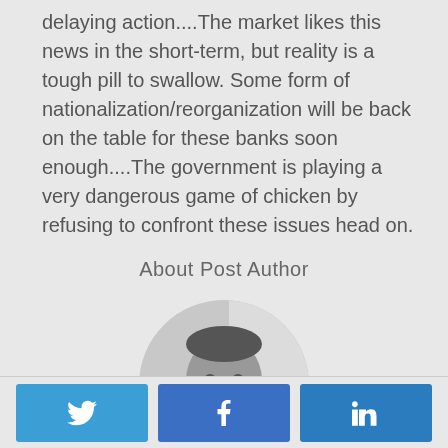delaying action....The market likes this news in the short-term, but reality is a tough pill to swallow. Some form of nationalization/reorganization will be back on the table for these banks soon enough....The government is playing a very dangerous game of chicken by refusing to confront these issues head on.
About Post Author
[Figure (photo): Circular profile photo of a bearded man in black and white, shown from the shoulders up against a light blurred background.]
[Figure (infographic): Social sharing buttons row: Twitter (bird icon, blue), Facebook (f icon, blue), LinkedIn (in icon, blue)]